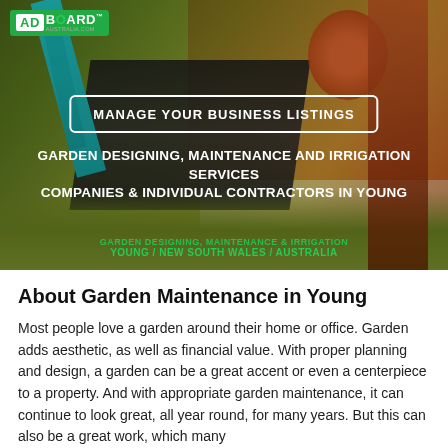[Figure (photo): Hero banner showing garden tools including a lawn mower and a teal/turquoise garden tool against green grass background. Overlay text includes AdBoard logo, a manage business listings button, and garden services heading.]
About Garden Maintenance in Young
Most people love a garden around their home or office. Garden adds aesthetic, as well as financial value. With proper planning and design, a garden can be a great accent or even a centerpiece to a property. And with appropriate garden maintenance, it can continue to look great, all year round, for many years. But this can also be a great work, which many